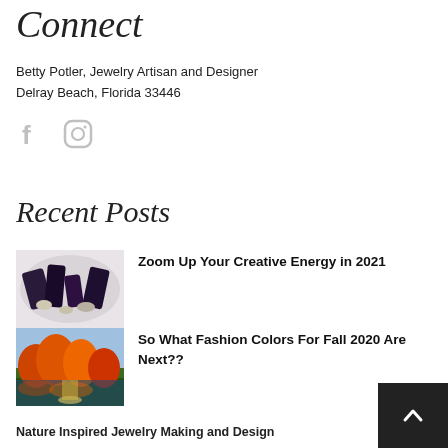Connect
Betty Potler, Jewelry Artisan and Designer
Delray Beach, Florida 33446
[Figure (infographic): Facebook and Instagram social media icons in light gray]
Recent Posts
[Figure (photo): Thumbnail image of dark crystals/gemstones on white background]
Zoom Up Your Creative Energy in 2021
[Figure (photo): Thumbnail image of autumn trees with orange foliage, landscape painting style]
So What Fashion Colors For Fall 2020 Are Next??
Nature Inspired Jewelry Making and Design